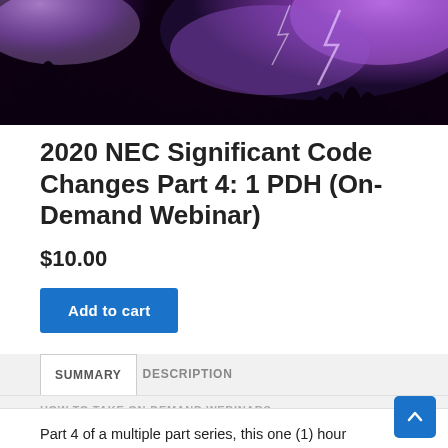[Figure (photo): Dark nighttime sky with dramatic purple lightning storm and silhouetted tree line against glowing purple thunderclouds]
2020 NEC Significant Code Changes Part 4: 1 PDH (On-Demand Webinar)
$10.00
Add to cart
SUMMARY	DESCRIPTION
HOW TO TAKE ON-DEMAND WEBINARS
Part 4 of a multiple part series, this one (1) hour course covers and highlights some of the significant changes